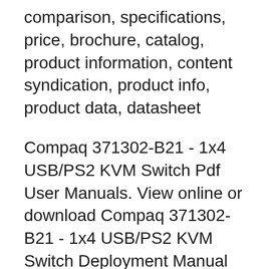comparison, specifications, price, brochure, catalog, product information, content syndication, product info, product data, datasheet
Compaq 371302-B21 - 1x4 USB/PS2 KVM Switch Pdf User Manuals. View online or download Compaq 371302-B21 - 1x4 USB/PS2 KVM Switch Deployment Manual perixx Peripro-401 PS2 vers USB Adaptateur вЂ" pour Clavier et Souris avec Interface PS2 вЂ" Prise en Charge de la PS2 Port du commutateur KVM вЂ" USB intГ©grГ©IC
LCD Console1 x CS1316 16-port USB/PS2 Combo KVM Switch4 x